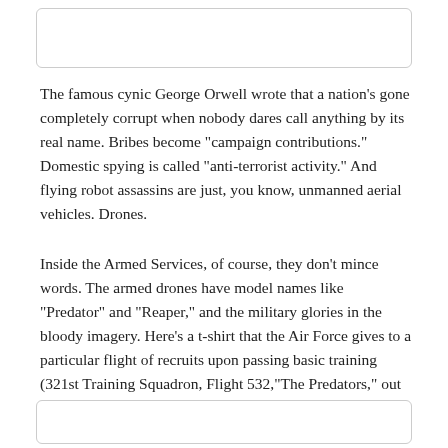[Figure (other): Empty bordered box at top of page]
The famous cynic George Orwell wrote that a nation’s gone completely corrupt when nobody dares call anything by its real name. Bribes become “campaign contributions.” Domestic spying is called “anti-terrorist activity.” And flying robot assassins are just, you know, unmanned aerial vehicles. Drones.
Inside the Armed Services, of course, they don’t mince words. The armed drones have model names like “Predator” and “Reaper,” and the military glories in the bloody imagery. Here’s a t-shirt that the Air Force gives to a particular flight of recruits upon passing basic training (321st Training Squadron, Flight 532,“The Predators,” out of Lackland AFB in San Antonio):
[Figure (other): Empty bordered box at bottom of page]